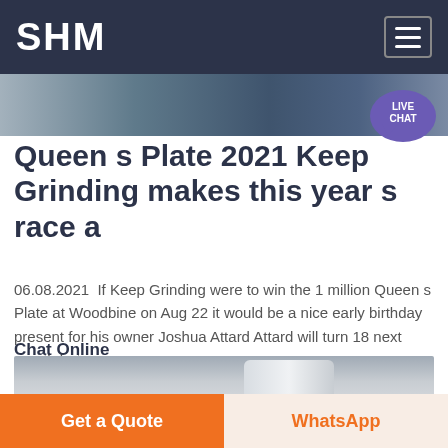SHM
[Figure (photo): Industrial machinery photo strip at top of page]
Queen s Plate 2021 Keep Grinding makes this year s race a
06.08.2021  If Keep Grinding were to win the 1 million Queen s Plate at Woodbine on Aug 22 it would be a nice early birthday present for his owner Joshua Attard Attard will turn 18 next month but
Chat Online
[Figure (photo): Industrial equipment photo showing a cylindrical object in a warehouse interior]
Get a Quote
WhatsApp